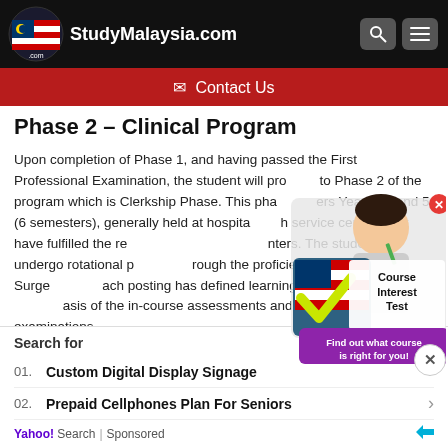StudyMalaysia.com
✉ Contact Us
Phase 2 – Clinical Program
Upon completion of Phase 1, and having passed the First Professional Examination, the student will proceed to Phase 2 of the program which is Clerkship Phase. This phase covers Year 3, 4 and 5 (6 semesters), generally held at hospitals and service centers that have fulfilled the requirements. The student will undergo rotational postings through the proficiencies of Medicine, Surgery, etc. Each posting has defined learning objectives, assessed on the basis of the in-course assessments and the end-of-posting examinations.
[Figure (infographic): Course Interest Test ad popup with Malaysian flag checkmark logo and a woman thinking, text: Find out what course is right for you!]
Year 3: Introduction to Clinical Medicine
Search for
01. Custom Digital Display Signage
02. Prepaid Cellphones Plan For Seniors
Yahoo! Search | Sponsored